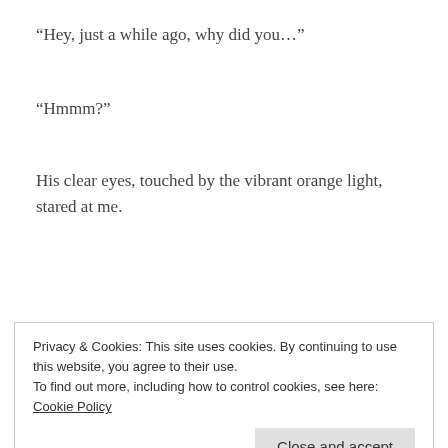“Hey, just a while ago, why did you…”
“Hmmm?”
His clear eyes, touched by the vibrant orange light, stared at me.
“Why did you say ‘I’m sorry’?”
Privacy & Cookies: This site uses cookies. By continuing to use this website, you agree to their use.
To find out more, including how to control cookies, see here: Cookie Policy
After thinking for a moment, he turned away.